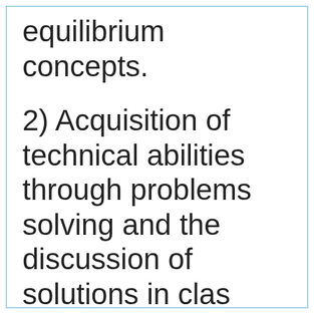equilibrium concepts.
2) Acquisition of technical abilities through problems solving and the discussion of solutions in class